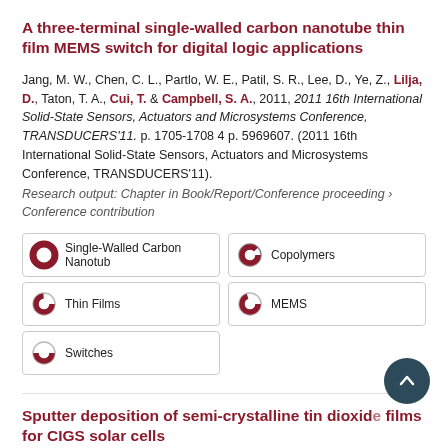A three-terminal single-walled carbon nanotube thin film MEMS switch for digital logic applications
Jang, M. W., Chen, C. L., Partlo, W. E., Patil, S. R., Lee, D., Ye, Z., Lilja, D., Taton, T. A., Cui, T. & Campbell, S. A., 2011, 2011 16th International Solid-State Sensors, Actuators and Microsystems Conference, TRANSDUCERS'11. p. 1705-1708 4 p. 5969607. (2011 16th International Solid-State Sensors, Actuators and Microsystems Conference, TRANSDUCERS'11).
Research output: Chapter in Book/Report/Conference proceeding › Conference contribution
[Figure (infographic): Five keyword badges with donut/circle icons: Single-Walled Carbon Nanotub (100%), Copolymers (90%), Thin Films (75%), MEMS (70%), Switches (50%)]
Sputter deposition of semi-crystalline tin dioxide films for CIGS solar cells
Tosun, B. S., Feist, R. K., Campbell, S. A., Aydil, E. S., Gunawan, A. & Mkhoyan, K. A. Jan 1 2011, Materials Engineering and